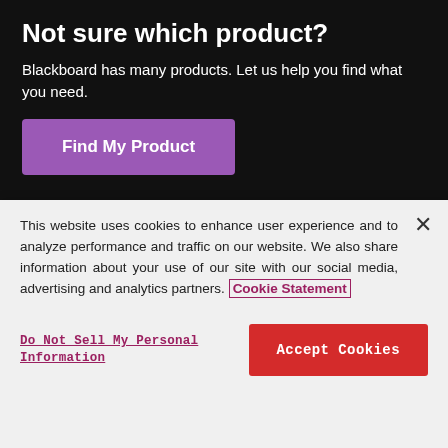Not sure which product?
Blackboard has many products. Let us help you find what you need.
Find My Product
Visit Blackboard.com
Copyright©2022. Anthology Inc. and its affiliates. All rights reserved.
Trademarks
Legal Disclaimers
Privacy Statement
Do Not Sell My Personal Information
This website uses cookies to enhance user experience and to analyze performance and traffic on our website. We also share information about your use of our site with our social media, advertising and analytics partners. Cookie Statement
Do Not Sell My Personal Information
Accept Cookies